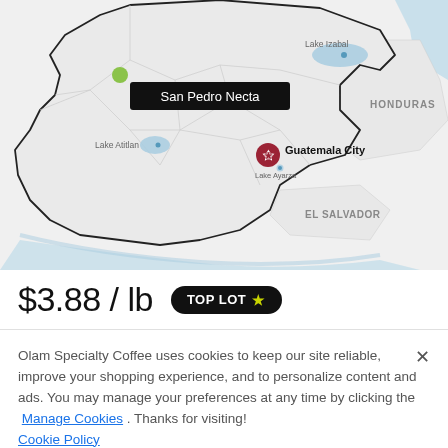[Figure (map): Map of Guatemala showing San Pedro Necta location marked with a green dot and label, Guatemala City marked with a dark red star icon, Lake Izabal in the northeast, Lake Atitlan in the west, Lake Amatitlan in the center, Honduras labeled to the east, El Salvador labeled to the southeast. Country outline in black, internal region outlines in light gray.]
$3.88 / lb  TOP LOT ★
Olam Specialty Coffee uses cookies to keep our site reliable, improve your shopping experience, and to personalize content and ads. You may manage your preferences at any time by clicking the Manage Cookies . Thanks for visiting! Cookie Policy